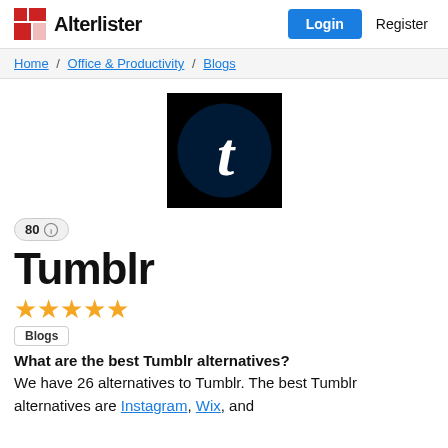Alterlister | Login | Register
Home / Office & Productivity / Blogs
[Figure (logo): Tumblr logo: black square background with dark navy circle containing white lowercase letter t]
80
Tumblr
★★★★★
Blogs
What are the best Tumblr alternatives?
We have 26 alternatives to Tumblr. The best Tumblr alternatives are Instagram, Wix, and